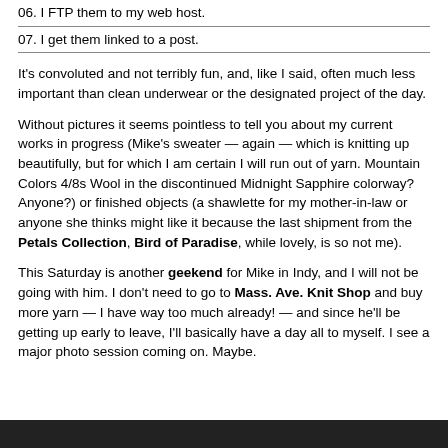06. I FTP them to my web host.
07. I get them linked to a post.
It's convoluted and not terribly fun, and, like I said, often much less important than clean underwear or the designated project of the day.
Without pictures it seems pointless to tell you about my current works in progress (Mike's sweater — again — which is knitting up beautifully, but for which I am certain I will run out of yarn. Mountain Colors 4/8s Wool in the discontinued Midnight Sapphire colorway? Anyone?) or finished objects (a shawlette for my mother-in-law or anyone she thinks might like it because the last shipment from the Petals Collection, Bird of Paradise, while lovely, is so not me).
This Saturday is another geekend for Mike in Indy, and I will not be going with him. I don't need to go to Mass. Ave. Knit Shop and buy more yarn — I have way too much already! — and since he'll be getting up early to leave, I'll basically have a day all to myself. I see a major photo session coming on. Maybe.